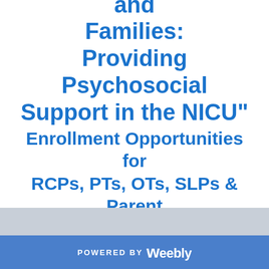"Caring for Babies and Families: Providing Psychosocial Support in the NICU" Enrollment Opportunities for RCPs, PTs, OTs, SLPs & Parent Mentors
POWERED BY weebly